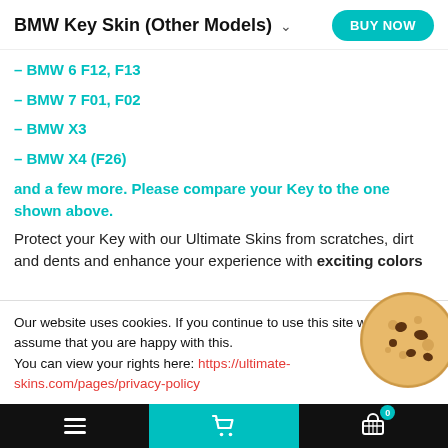BMW Key Skin (Other Models) BUY NOW
– BMW 6 F12, F13
– BMW 7 F01, F02
– BMW X3
– BMW X4 (F26)
and a few more. Please compare your Key to the one shown above.
Protect your Key with our Ultimate Skins from scratches, dirt and dents and enhance your experience with exciting colors
Our website uses cookies. If you continue to use this site we will assume that you are happy with this.
You can view your rights here: https://ultimate-skins.com/pages/privacy-policy